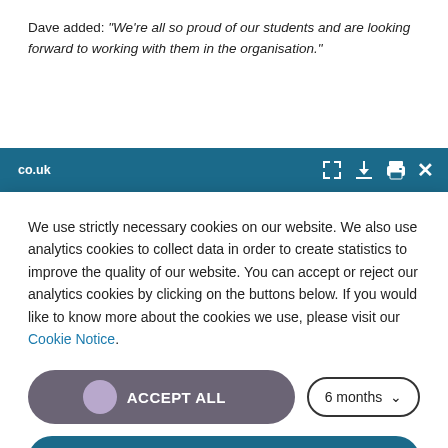Dave added: “We’re all so proud of our students and are looking forward to working with them in the organisation.”
[Figure (screenshot): Browser toolbar showing co.uk domain URL bar with expand, download, print, and close icons on a dark teal background]
We use strictly necessary cookies on our website. We also use analytics cookies to collect data in order to create statistics to improve the quality of our website. You can accept or reject our analytics cookies by clicking on the buttons below. If you would like to know more about the cookies we use, please visit our Cookie Notice.
ACCEPT ALL
6 months
Save my preferences
Privacy policy